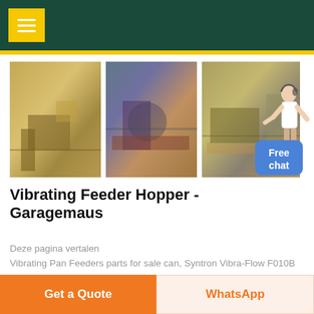[Figure (photo): Dark teal website header with yellow hamburger menu button]
[Figure (photo): Three photos of industrial vibrating feeder/mining equipment machines shown in a row]
[Figure (illustration): Customer support person figure with Free chat button in blue]
Vibrating Feeder Hopper - Garagemaus
Deze pagina vertalen
Vibrating Pan Feeders parts for sale can, Syntron Vibra-Flow F010B Vibrating Feeder with Hopper, Eriez Magnetic Vibrating Pan Feeder Eriez Magnetic Vibrating . Vibrating Feeder – Applied Vibration Limited. A vibratory feeder provides high A
[Figure (screenshot): Bottom action buttons: orange Get a Quote button and light orange WhatsApp button]